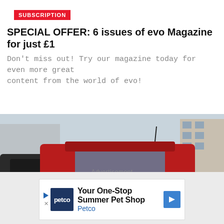SUBSCRIPTION
SPECIAL OFFER: 6 issues of evo Magazine for just £1
Don't miss out! Try our magazine today for even more great content from the world of evo!
[Figure (photo): Front view of a red Nissan Murano SUV in a parking area, with other vehicles partially visible on either side, and buildings in the background.]
Advertisement
[Figure (infographic): Petco advertisement banner: 'Your One-Stop Summer Pet Shop' with Petco logo and blue arrow icon.]